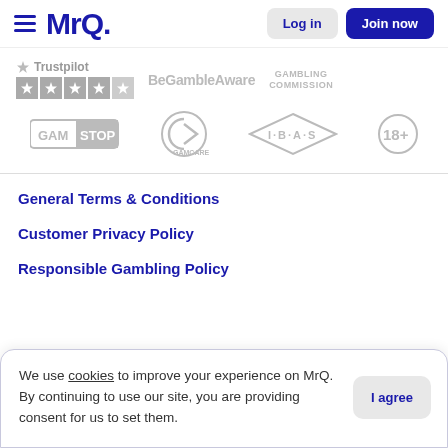MrQ — Log in | Join now
[Figure (logo): MrQ logo with hamburger menu, Log in and Join now buttons]
[Figure (logo): Compliance logos: Trustpilot 4-star, BeGambleAware, Gambling Commission, GamStop, GamCare, IBAS, 18+]
General Terms & Conditions
Customer Privacy Policy
Responsible Gambling Policy
We use cookies to improve your experience on MrQ. By continuing to use our site, you are providing consent for us to set them.